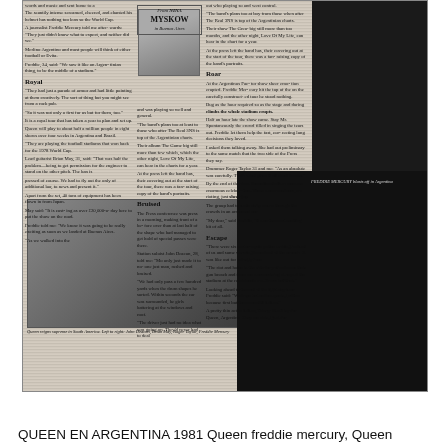[Figure (photo): Scanned newspaper page about Queen in Argentina 1981, featuring columns of text, photos including Freddie Mercury performing and Queen members with gold records, byline from Nina Myskow in Buenos Aires]
Queen reigns supreme in South America. Left to right: John Deacon, Brian May, Roger Taylor, Freddie Mercury
FREDDIE MERCURY blasts off in Argentina
QUEEN EN ARGENTINA 1981 Queen freddie mercury, Queen